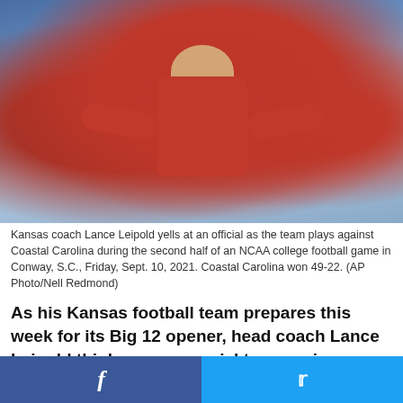[Figure (photo): Kansas football coach Lance Leipold in red jacket with arms outstretched, yelling at an official during a game. Crowd visible in background.]
Kansas coach Lance Leipold yells at an official as the team plays against Coastal Carolina during the second half of an NCAA college football game in Conway, S.C., Friday, Sept. 10, 2021. Coastal Carolina won 49-22. (AP Photo/Nell Redmond)
As his Kansas football team prepares this week for its Big 12 opener, head coach Lance Leipold thinks some special teams miscues from the Jayhawks' loss at Coastal Carolina in Week 2 are repairable.